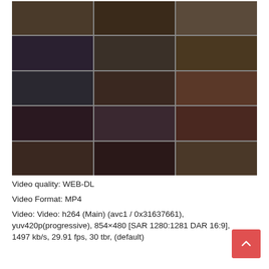[Figure (photo): Grid of 15 video thumbnail screenshots arranged in a 3-column by 5-row layout]
Video quality: WEB-DL
Video Format: MP4
Video: Video: h264 (Main) (avc1 / 0x31637661), yuv420p(progressive), 854×480 [SAR 1280:1281 DAR 16:9], 1497 kb/s, 29.91 fps, 30 tbr, (default)